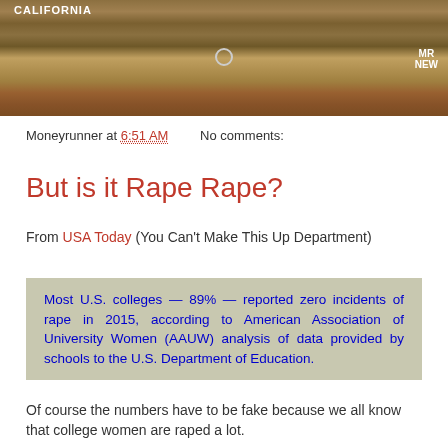[Figure (photo): Photo of a person at a hearing desk/podium with a wooden panel backdrop. Text 'CALIFORNIA' visible top left, 'MR NEW' or similar text visible top right. A circular microphone element visible.]
Moneyrunner at 6:51 AM    No comments:
But is it Rape Rape?
From USA Today (You Can't Make This Up Department)
Most U.S. colleges — 89% — reported zero incidents of rape in 2015, according to American Association of University Women (AAUW) analysis of data provided by schools to the U.S. Department of Education.
Of course the numbers have to be fake because we all know that college women are raped a lot.